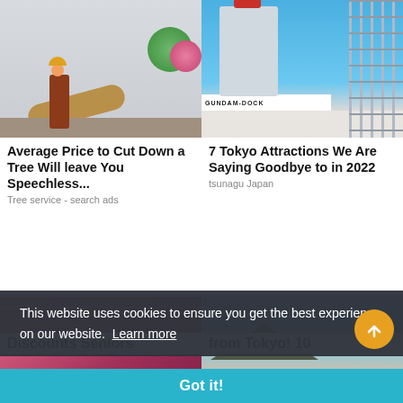[Figure (photo): Person standing near a freshly cut tree log beside a house with bushes in background]
Average Price to Cut Down a Tree Will leave You Speechless...
Tree service - search ads
[Figure (photo): Large Gundam robot statue at GUNDAM-DOCK with scaffolding around it against blue sky]
7 Tokyo Attractions We Are Saying Goodbye to in 2022
tsunagu Japan
[Figure (photo): Pink/red close-up image, partially visible bottom card]
[Figure (photo): Japanese temple roof with street visible, partially visible bottom card]
This website uses cookies to ensure you get the best experience on our website.  Learn more
Got it!
Discounts Seniors
from Tokyo! 10